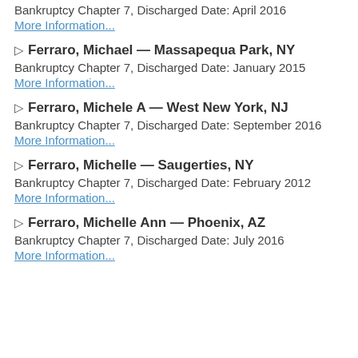Bankruptcy Chapter 7, Discharged Date: April 2016
More Information...
▷ Ferraro, Michael — Massapequa Park, NY
Bankruptcy Chapter 7, Discharged Date: January 2015
More Information...
▷ Ferraro, Michele A — West New York, NJ
Bankruptcy Chapter 7, Discharged Date: September 2016
More Information...
▷ Ferraro, Michelle — Saugerties, NY
Bankruptcy Chapter 7, Discharged Date: February 2012
More Information...
▷ Ferraro, Michelle Ann — Phoenix, AZ
Bankruptcy Chapter 7, Discharged Date: July 2016
More Information...